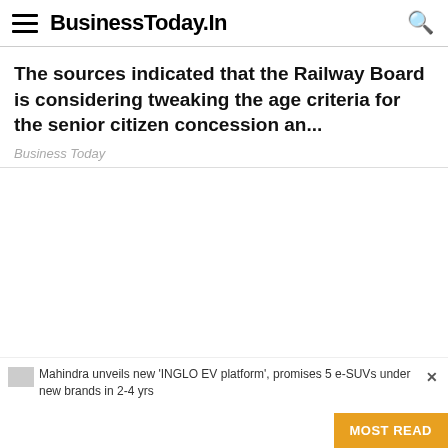BusinessToday.In
The sources indicated that the Railway Board is considering tweaking the age criteria for the senior citizen concession an...
Business Today
Mahindra unveils new 'INGLO EV platform', promises 5 e-SUVs under new brands in 2-4 yrs
MOST READ